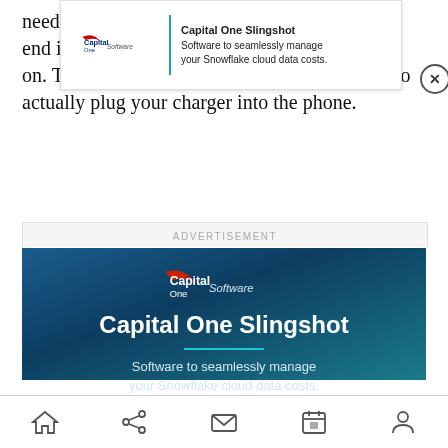needs … ther end is … one on. The only savings is the millisecond it takes to actually plug your charger into the phone.
[Figure (screenshot): Top banner advertisement for Capital One Slingshot - Capital One Software logo with text: Capital One Slingshot, Software to seamlessly manage your Snowflake cloud data costs. With close button.]
ADVERTISEMENT
[Figure (screenshot): Capital One Slingshot advertisement on dark blue background. Capital One Software logo, heading: Capital One Slingshot, teal divider line, subtext: Software to seamlessly manage your Snowflake cloud data costs. Learn more button.]
Home | Share | Mail | Calendar | Profile — navigation bar icons